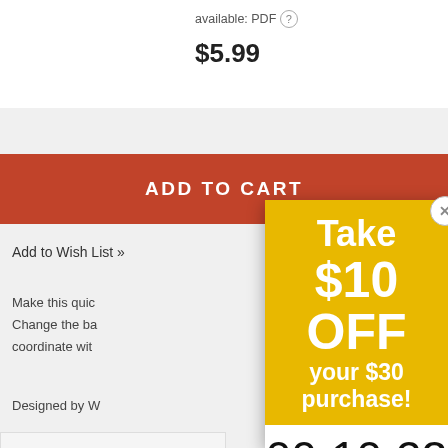available: PDF ?
$5.99
ADD TO CART
Add to Wish List »
Make this quic
Change the ba
coordinate wit
Designed by W
Recomm
Reviews
[Figure (screenshot): Promotional popup overlay showing 'Take $10 OFF your $30 purchase!' with a countdown timer showing 00 Day, 10 Hr, 23 Min and a red SHOP NOW button on yellow/white background. Includes a close (X) button.]